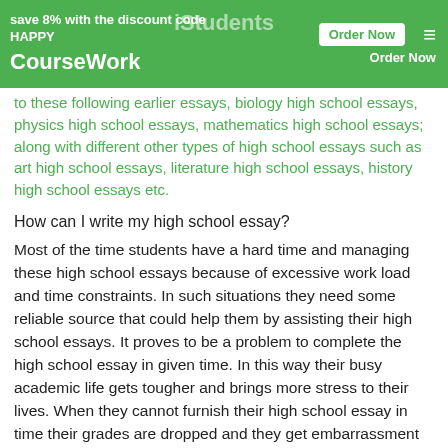save 8% with the discount code HAPPY | CourseWork | Order Now | Order Now
to these following earlier essays, biology high school essays, physics high school essays, mathematics high school essays; along with different other types of high school essays such as art high school essays, literature high school essays, history high school essays etc.
How can I write my high school essay?
Most of the time students have a hard time and managing these high school essays because of excessive work load and time constraints. In such situations they need some reliable source that could help them by assisting their high school essays. It proves to be a problem to complete the high school essay in given time. In this way their busy academic life gets tougher and brings more stress to their lives. When they cannot furnish their high school essay in time their grades are dropped and they get embarrassment as well. This ridicule and shame causes further image decline in the eyes of their class fellows and teachers.
Great High school essays cannot be found anywhere but at the